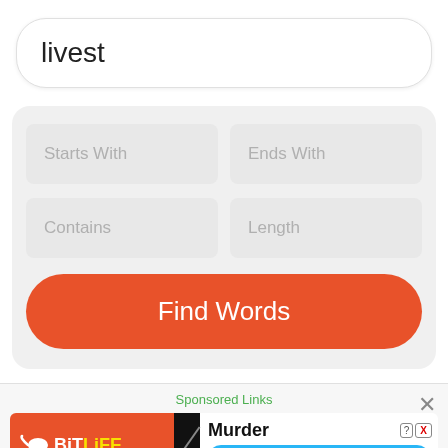livest
Starts With
Ends With
Contains
Length
Find Words
Sponsored Links
[Figure (screenshot): BitLife app advertisement banner showing 'Murder Do it!' promotional content]